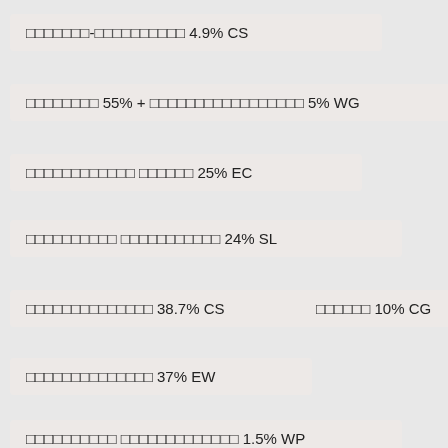□□□□□□□-□□□□□□□□□□ 4.9% CS
□□□□□□□□ 55% + □□□□□□□□□□□□□□□□□ 5% WG
□□□□□□□□□□□□ □□□□□□ 25% EC
□□□□□□□□□□ □□□□□□□□□□□ 24% SL
□□□□□□□□□□□□□□ 38.7% CS
□□□□□□ 10% CG
□□□□□□□□□□□□□□ 37% EW
□□□□□□□□□□ □□□□□□□□□□□□□ 1.5% WP
□□□□□□□□□□ □□□□□□□□□□□□□□ 1% WP